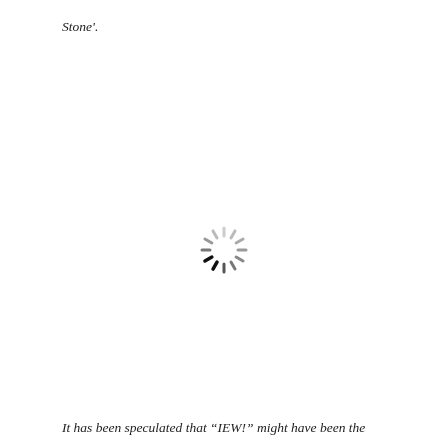Stone'.
[Figure (other): A loading spinner / busy indicator graphic consisting of radial dashes arranged in a circle, with darker dashes at the left/bottom-left positions indicating a loading animation state.]
It has been speculated that “IEW!” might have been the